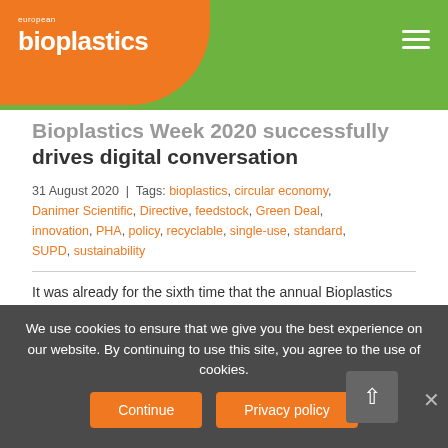european bioplastics
Bioplastics Week 2020 successfully drives digital conversation
31 August 2020 | Tags: bioplastics, circular economy, Danimer Scientific, Directive, feedstock, Green Deal, innovation, PHA, policy, recyclable, single-use, standard, SUPD, sustainability
It was already for the sixth time that the annual Bioplastics Week opened its virtual gates. During 17 and 21 August 2020, the social media campaign aimed at increasing visibility for bioplastics by driving digital conversations. The activities were coordinated by the
We use cookies to ensure that we give you the best experience on our website. By continuing to use this site, you agree to the use of cookies.